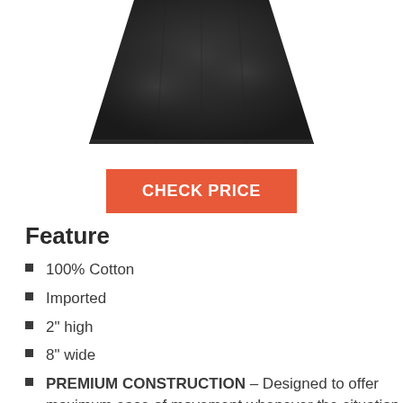[Figure (photo): A black fabric item (appears to be a black t-shirt or garment) photographed from above against a white background, showing the body/torso area.]
CHECK PRICE
Feature
100% Cotton
Imported
2" high
8" wide
PREMIUM CONSTRUCTION – Designed to offer maximum ease of movement whenever the situation